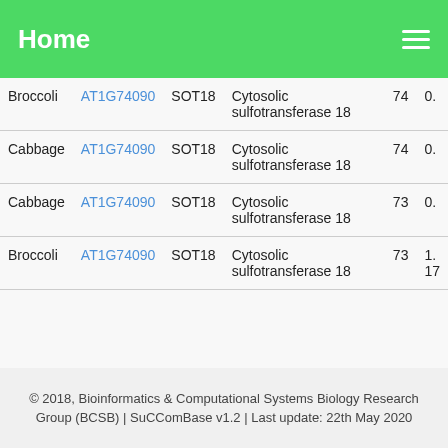Home
| Species | Gene ID | Gene Name | Protein Name | Score | Value |
| --- | --- | --- | --- | --- | --- |
| Broccoli | AT1G74090 | SOT18 | Cytosolic sulfotransferase 18 | 74 | 0. |
| Cabbage | AT1G74090 | SOT18 | Cytosolic sulfotransferase 18 | 74 | 0. |
| Cabbage | AT1G74090 | SOT18 | Cytosolic sulfotransferase 18 | 73 | 0. |
| Broccoli | AT1G74090 | SOT18 | Cytosolic sulfotransferase 18 | 73 | 1. 17 |
© 2018, Bioinformatics & Computational Systems Biology Research Group (BCSB) | SuCComBase v1.2 | Last update: 22th May 2020